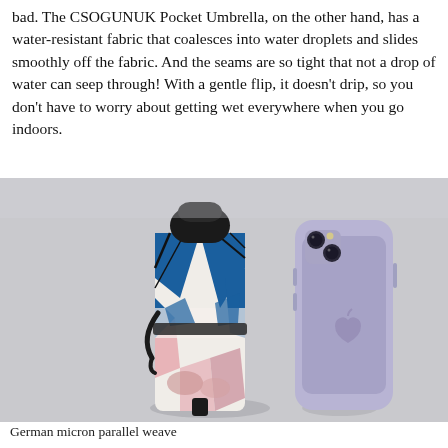bad. The CSOGUNUK Pocket Umbrella, on the other hand, has a water-resistant fabric that coalesces into water droplets and slides smoothly off the fabric. And the seams are so tight that not a drop of water can seep through! With a gentle flip, it doesn't drip, so you don't have to worry about getting wet everywhere when you go indoors.
[Figure (photo): A compact folded umbrella with colorful blue, pink, and white patterned fabric standing upright next to a purple iPhone 11 on a gray background, showing size comparison.]
German micron parallel weave